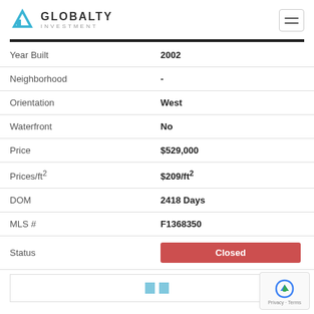GLOBALTY INVESTMENT
| Field | Value |
| --- | --- |
| Year Built | 2002 |
| Neighborhood | - |
| Orientation | West |
| Waterfront | No |
| Price | $529,000 |
| Prices/ft² | $209/ft² |
| DOM | 2418 Days |
| MLS # | F1368350 |
| Status | Closed |